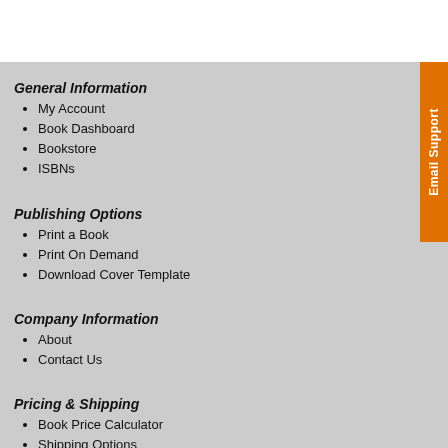General Information
My Account
Book Dashboard
Bookstore
ISBNs
Publishing Options
Print a Book
Print On Demand
Download Cover Template
Company Information
About
Contact Us
Pricing & Shipping
Book Price Calculator
Shipping Options
Return Policy
Email Support